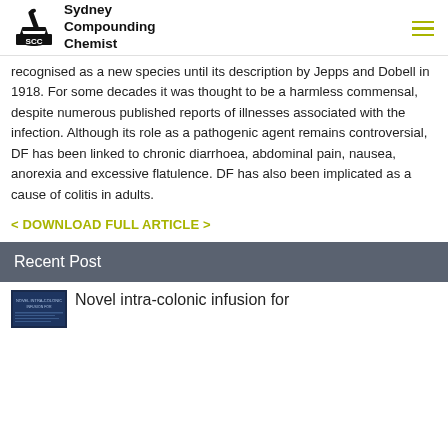Sydney Compounding Chemist
recognised as a new species until its description by Jepps and Dobell in 1918. For some decades it was thought to be a harmless commensal, despite numerous published reports of illnesses associated with the infection. Although its role as a pathogenic agent remains controversial, DF has been linked to chronic diarrhoea, abdominal pain, nausea, anorexia and excessive flatulence. DF has also been implicated as a cause of colitis in adults.
< DOWNLOAD FULL ARTICLE >
Recent Post
Novel intra-colonic infusion for